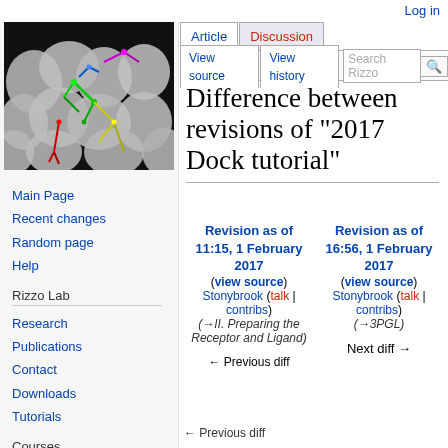Log in
[Figure (illustration): Molecular docking visualization showing a protein surface (gray blobs) with colored ligands (green, red, yellow, blue, magenta) in the active site on a black background]
Main Page
Recent changes
Random page
Help
Rizzo Lab
Research
Publications
Contact
Downloads
Tutorials
Courses
AMS-531
Difference between revisions of "2017 Dock tutorial"
| Revision as of 11:15, 1 February 2017 | Revision as of 16:56, 1 February 2017 |
| --- | --- |
| (view source) | (view source) |
| Stonybrook (talk | contribs) | Stonybrook (talk | contribs) |
| (→II. Preparing the Receptor and Ligand) | (→3PGL) |
|  | Next diff → |
| ← Previous diff |  |